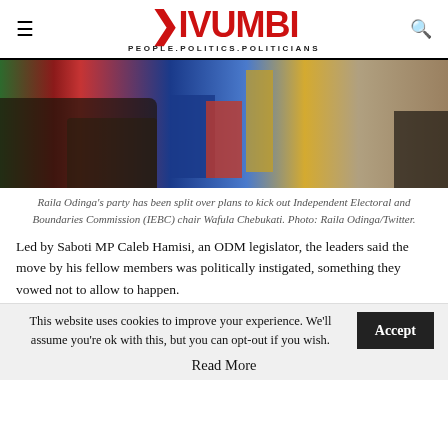KIVUMBI — PEOPLE.POLITICS.POLITICIANS
[Figure (photo): A photograph showing people at a political gathering with flags including red, green, and blue banners. A person in a blue suit is visible near a podium.]
Raila Odinga's party has been split over plans to kick out Independent Electoral and Boundaries Commission (IEBC) chair Wafula Chebukati. Photo: Raila Odinga/Twitter.
Led by Saboti MP Caleb Hamisi, an ODM legislator, the leaders said the move by his fellow members was politically instigated, something they vowed not to allow to happen.
This website uses cookies to improve your experience. We'll assume you're ok with this, but you can opt-out if you wish.
Read More